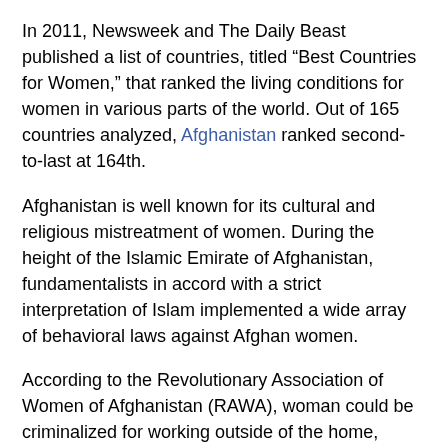In 2011, Newsweek and The Daily Beast published a list of countries, titled “Best Countries for Women,” that ranked the living conditions for women in various parts of the world. Out of 165 countries analyzed, Afghanistan ranked second-to-last at 164th.
Afghanistan is well known for its cultural and religious mistreatment of women. During the height of the Islamic Emirate of Afghanistan, fundamentalists in accord with a strict interpretation of Islam implemented a wide array of behavioral laws against Afghan women.
According to the Revolutionary Association of Women of Afghanistan (RAWA), woman could be criminalized for working outside of the home, participating in any activity outside of the home (unless accompanied by a mahram, or a male relative), not wearing a burqa, wearing heels or makeup, laughing loudly, being photographed or filmed, playing sports, riding unaccompanied in a taxi, riding on a bicycle or motorcycle, looking at strangers, appearing on the balcony of her own home, receiving medical treatment from a male doctor and being educated, among others.
These regulations seriously constrain the personal freedoms of